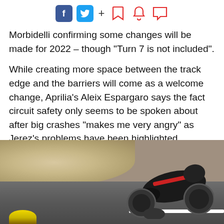[Figure (infographic): Social media sharing icons row: Facebook (blue square with f), Twitter (light blue square with bird), plus sign, then three outlined red icons (bookmark, bell, speech bubble)]
Morbidelli confirming some changes will be made for 2022 – though “Turn 7 is not included”.
While creating more space between the track edge and the barriers will come as a welcome change, Aprilia’s Aleix Espargaro says the fact circuit safety only seems to be spoken about after big crashes “makes me very angry” as Jerez’s problems have been highlighted repeatedly before.
[Figure (photo): A motorcycle racer on a black and red Aprilia bike leaning through a corner on the Jerez circuit, with the gravel trap visible in the upper left and the rider's helmet just visible at the bottom of the frame.]